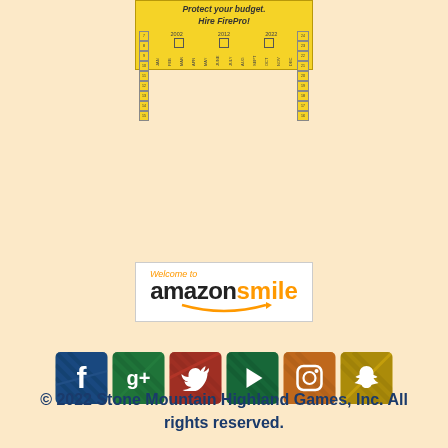[Figure (other): FirePro advertisement card with yellow background showing 'Protect your budget. Hire FirePro!' text and a calendar grid with years 2002, 2012, 2022 and month labels JAN through DEC, surrounded by numbered border cells]
[Figure (logo): Amazon Smile logo with 'Welcome to' text above 'amazonsmile' in black and orange with arrow curve underneath]
[Figure (other): Six social media icons with tartan plaid backgrounds: Facebook (blue tartan), Google+ (green tartan), Twitter (red tartan), YouTube play button (green tartan), Instagram (orange tartan), Snapchat (yellow tartan)]
© 2022 Stone Mountain Highland Games, Inc. All rights reserved.